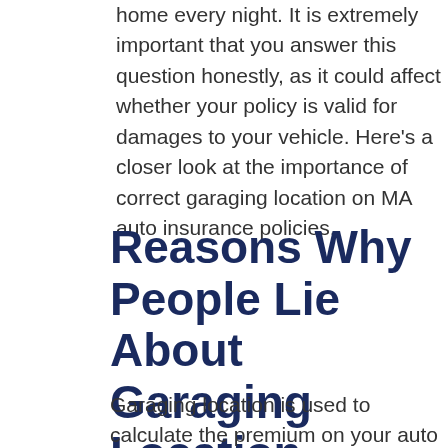home every night. It is extremely important that you answer this question honestly, as it could affect whether your policy is valid for damages to your vehicle. Here's a closer look at the importance of correct garaging location on MA auto insurance policies.
Reasons Why People Lie About Garaging Location
Garaging location is used to calculate the premium on your auto insurance policy. Why? Some locations have higher rates of